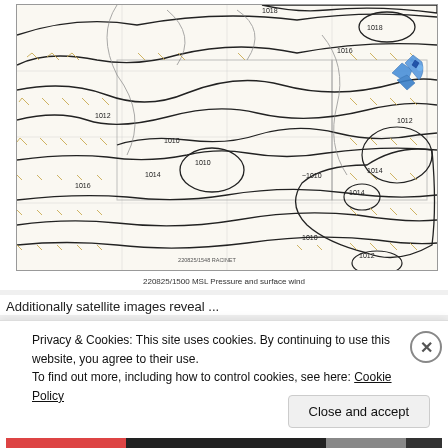[Figure (map): Meteorological map showing MSL pressure and surface wind contours with isobars labeled (1010, 1012, 1014, 1016, 1018, etc.) and wind barb arrows. Dated 220825/1500. Blue markers visible in upper right area. Caption reads: 220825/1500 MSL Pressure and surface wind]
220825/1500 MSL Pressure and surface wind
Additionally satellite images reveal ...
Privacy & Cookies: This site uses cookies. By continuing to use this website, you agree to their use.
To find out more, including how to control cookies, see here: Cookie Policy